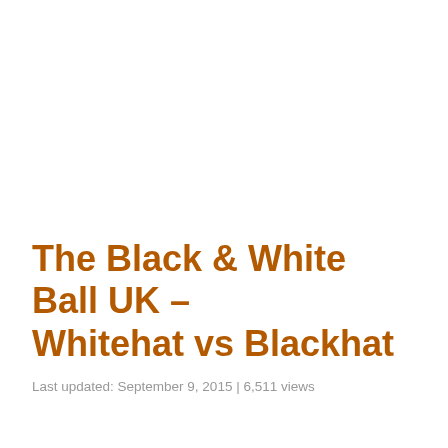The Black & White Ball UK – Whitehat vs Blackhat
Last updated: September 9, 2015 | 6,511 views